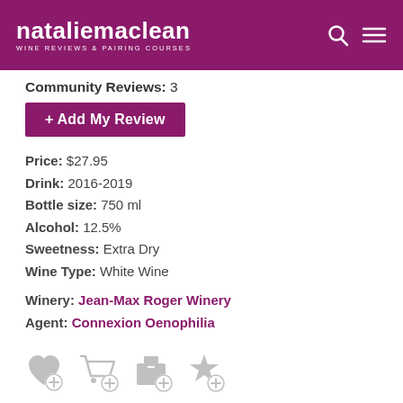nataliemaclean WINE REVIEWS & PAIRING COURSES
Community Reviews: 3
+ Add My Review
Price: $27.95
Drink: 2016-2019
Bottle size: 750 ml
Alcohol: 12.5%
Sweetness: Extra Dry
Wine Type: White Wine
Winery: Jean-Max Roger Winery
Agent: Connexion Oenophilia
[Figure (infographic): Row of four gray action icons: wishlist heart, add to cart, shipping box, and favorites star, each with a plus symbol]